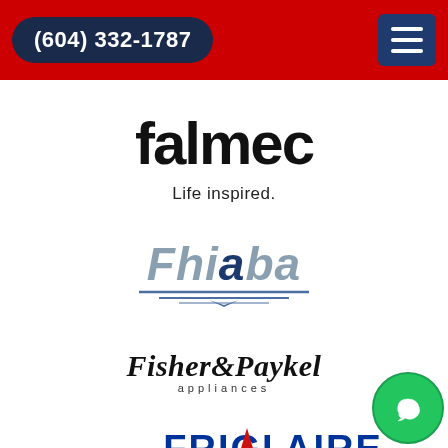(604) 332-1787
[Figure (logo): Falmec logo with text 'falmec' in bold black and tagline 'Life inspired.' below]
[Figure (logo): Fhiaba logo in italic grey/blue lettering with decorative lines beneath]
[Figure (logo): Fisher & Paykel Appliances logo in black italic text]
[Figure (logo): Frigidaire logo in bold blue capital letters with red triangle accent]